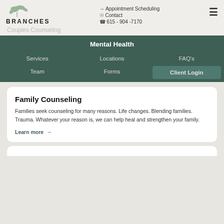[Figure (logo): Branches counseling logo with leaf/branch illustration above the text BRANCHES]
Appointment Scheduling | Contact | 615-904-7170
Couples Counseling
Mental Health
Services
Locations
FAQ's
Team
Forms
Client Login
Family Counseling
Families seek counseling for many reasons. Life changes. Blending families. Trauma. Whatever your reason is, we can help heal and strengthen your family.
Learn more →